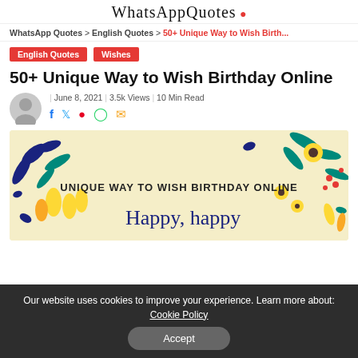WhatsAppQuotes
WhatsApp Quotes > English Quotes > 50+ Unique Way to Wish Birth...
English Quotes
Wishes
50+ Unique Way to Wish Birthday Online
June 8, 2021 | 3.5k Views | 10 Min Read
[Figure (illustration): Birthday banner with floral decorations (yellow flowers, teal/dark blue leaves, red berries) on a cream background. Text reads UNIQUE WAY TO WISH BIRTHDAY ONLINE and cursive Happy happy below.]
Our website uses cookies to improve your experience. Learn more about: Cookie Policy
Accept